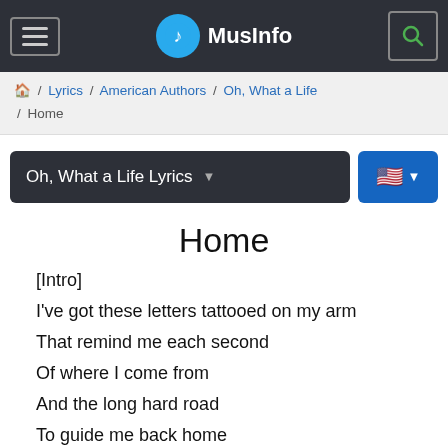MusInfo
Home / Lyrics / American Authors / Oh, What a Life / Home
Oh, What a Life Lyrics
Home
[Intro]
I've got these letters tattooed on my arm
That remind me each second
Of where I come from
And the long hard road
To guide me back home
Ooh, ooh